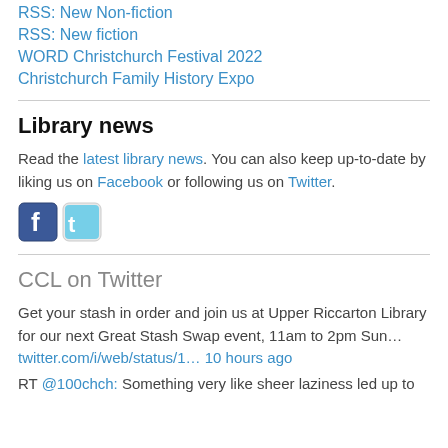RSS: New Non-fiction
RSS: New fiction
WORD Christchurch Festival 2022
Christchurch Family History Expo
Library news
Read the latest library news. You can also keep up-to-date by liking us on Facebook or following us on Twitter.
[Figure (illustration): Facebook and Twitter social media icon buttons]
CCL on Twitter
Get your stash in order and join us at Upper Riccarton Library for our next Great Stash Swap event, 11am to 2pm Sun…
twitter.com/i/web/status/1… 10 hours ago
RT @100chch: Something very like sheer laziness led up to